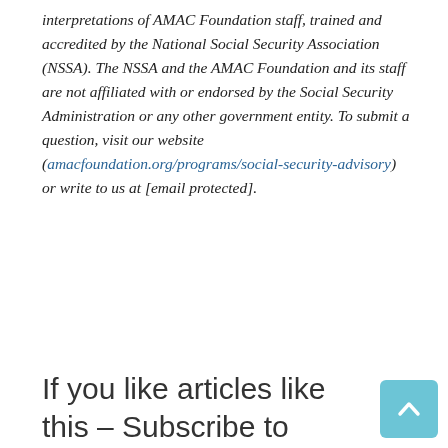interpretations of AMAC Foundation staff, trained and accredited by the National Social Security Association (NSSA). The NSSA and the AMAC Foundation and its staff are not affiliated with or endorsed by the Social Security Administration or any other government entity. To submit a question, visit our website (amacfoundation.org/programs/social-security-advisory) or write to us at [email protected].
If you like articles like this – Subscribe to AMAC's daily newsletter